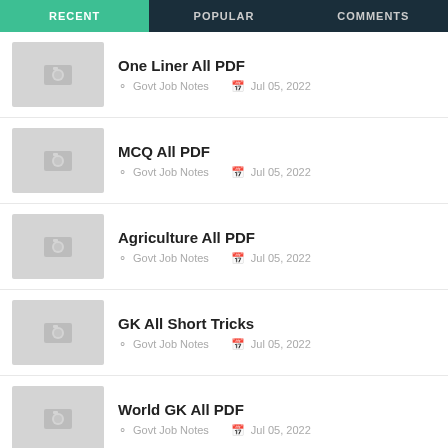RECENT | POPULAR | COMMENTS
One Liner All PDF — Govt Job Notes, Jul 05, 2022
MCQ All PDF — Govt Job Notes, Jul 05, 2022
Agriculture All PDF — Govt Job Notes, Jul 05, 2022
GK All Short Tricks — Govt Job Notes, Jul 05, 2022
World GK All PDF — Govt Job Notes, Jul 05, 2022